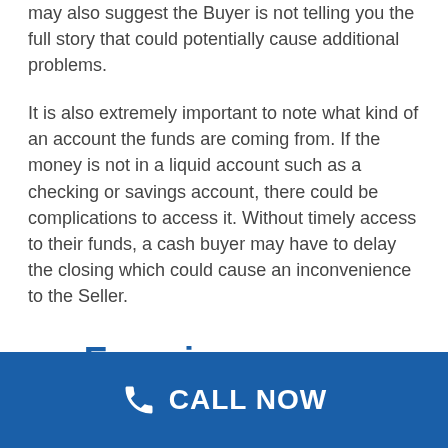may also suggest the Buyer is not telling you the full story that could potentially cause additional problems.
It is also extremely important to note what kind of an account the funds are coming from. If the money is not in a liquid account such as a checking or savings account, there could be complications to access it. Without timely access to their funds, a cash buyer may have to delay the closing which could cause an inconvenience to the Seller.
3. Experience
CALL NOW